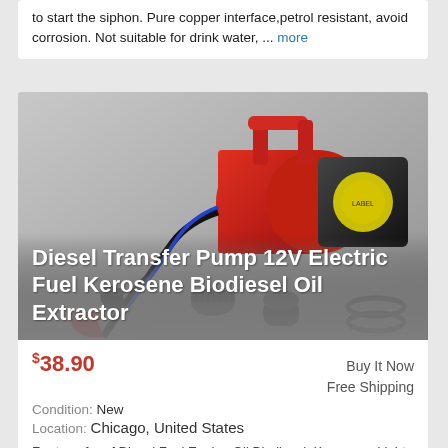to start the siphon. Pure copper interface,petrol resistant, avoid corrosion. Not suitable for drink water, ... more
[Figure (photo): Red and black 12V electric diesel transfer pump with alligator clips and accessories, product title overlay: Diesel Transfer Pump 12V Electric Fuel Kerosene Biodiesel Oil Extractor]
$38.90  Buy It Now  Free Shipping
Condition: New
Location: Chicago, United States
For transfer of Diesel Fuel,Engine Oil,Biodiesel, Kerosene, Light Fuel Oils,check valve prevents oil backflow to improve efficiency.Not suitable for low ... more